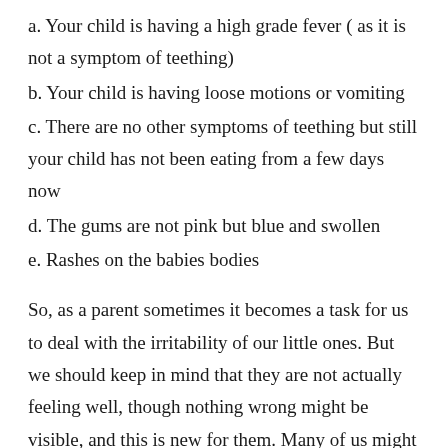a. Your child is having a high grade fever ( as it is not a symptom of teething)
b. Your child is having loose motions or vomiting
c. There are no other symptoms of teething but still your child has not been eating from a few days now
d. The gums are not pink but blue and swollen
e. Rashes on the babies bodies
So, as a parent sometimes it becomes a task for us to deal with the irritability of our little ones. But we should keep in mind that they are not actually feeling well, though nothing wrong might be visible, and this is new for them. Many of us might have experienced the discomfort we have while getting our wisdom teeth (third molars). It is the same for